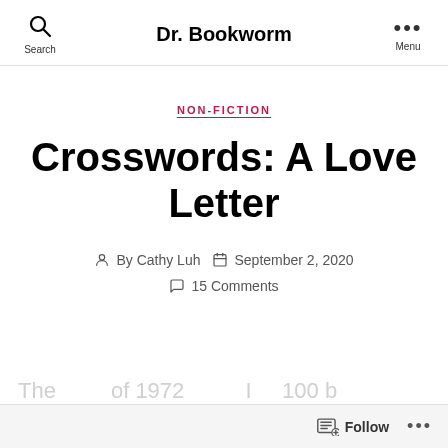Dr. Bookworm
NON-FICTION
Crosswords: A Love Letter
By Cathy Luh  September 2, 2020
15 Comments